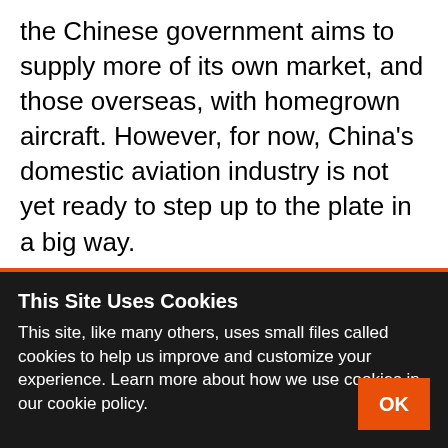the Chinese government aims to supply more of its own market, and those overseas, with homegrown aircraft. However, for now, China's domestic aviation industry is not yet ready to step up to the plate in a big way.

The maiden flight of the COMAC C919, which took place in 2017, was China's first attempt to gain a foothold in the narrow-body jet market. This was a big step for China's aviation industry. But the
This Site Uses Cookies
This site, like many others, uses small files called cookies to help us improve and customize your experience. Learn more about how we use cookies in our cookie policy.